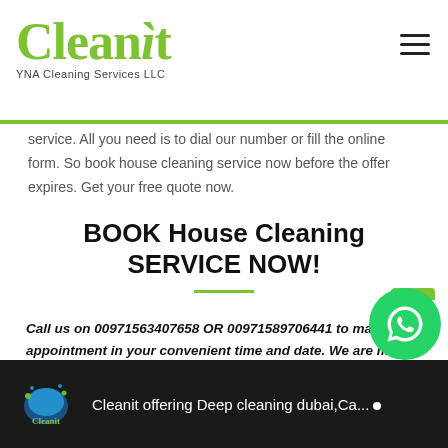Cleanit YNA Cleaning Services LLC
service. All you need is to dial our number or fill the online form. So book house cleaning service now before the offer expires. Get your free quote now.
BOOK House Cleaning SERVICE NOW!
Call us on 00971563407658 OR 00971589706441 to make an appointment in your convenient time and date. We are more happy to help you keep your property nice and clean throughout the year.
Cleanit offering Deep cleaning dubai,Ca...